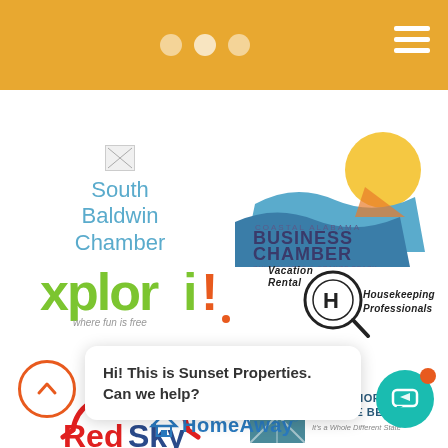Navigation header with dots and hamburger menu
[Figure (logo): South Baldwin Chamber logo - broken image with teal text]
[Figure (logo): Coastal Alabama Business Chamber - Gulf Shores & Orange Beach logo with sun and wave]
[Figure (logo): Xplorie logo - green text 'xplorie' with tagline 'where fun is free']
[Figure (logo): Vacation Rental Housekeeping Professionals logo with magnifying glass]
[Figure (logo): RedSky Travel Insurance logo with red cloud arc]
[Figure (logo): Gulf Shores & Orange Beach - It's a Whole Different State logo]
Hi! This is Sunset Properties. Can we help?
[Figure (logo): HomeAway logo]